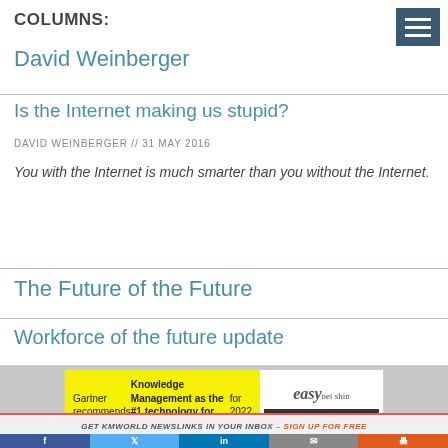COLUMNS:
David Weinberger
Is the Internet making us stupid?
DAVID WEINBERGER // 31 MAY 2016
You with the Internet is much smarter than you without the Internet.
The Future of the Future
Workforce of the future update
[Figure (other): Advertisement banner: Gartner recommends Knowledge Management as the #1 technology for customer service for 2022. Download Free Gartner Report. EasyVista logo.]
GET KMWORLD NEWSLINKS IN YOUR INBOX - SIGN UP FOR FREE